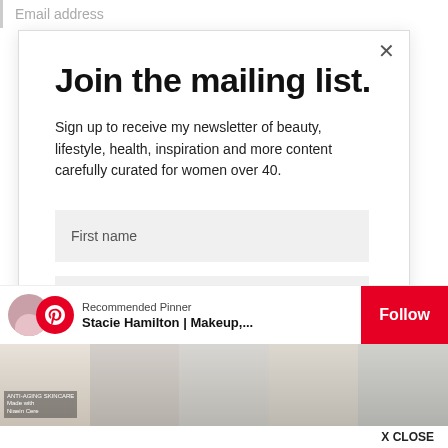Email address
Join the mailing list.
Sign up to receive my newsletter of beauty, lifestyle, health, inspiration and more content carefully curated for women over 40.
First name
Email address
[Figure (screenshot): Pinterest Recommended Pinner widget showing Stacie Hamilton | Makeup,... with Follow button and thumbnail images of interior design pins, with X CLOSE bar at bottom.]